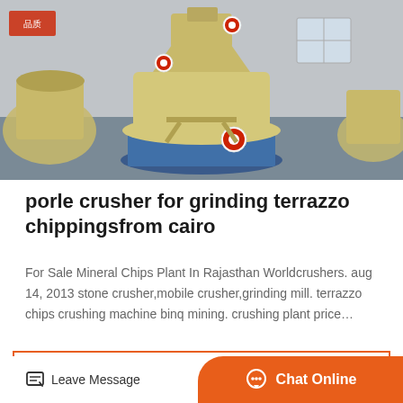[Figure (photo): Industrial cone crusher machine in a factory setting, cream/yellow colored, mounted on a blue base, photographed indoors with other equipment visible in background]
porle crusher for grinding terrazzo chippingsfrom cairo
For Sale Mineral Chips Plant In Rajasthan Worldcrushers. aug 14, 2013 stone crusher,mobile crusher,grinding mill. terrazzo chips crushing machine binq mining. crushing plant price…
Get Price
Leave Message
Chat Online